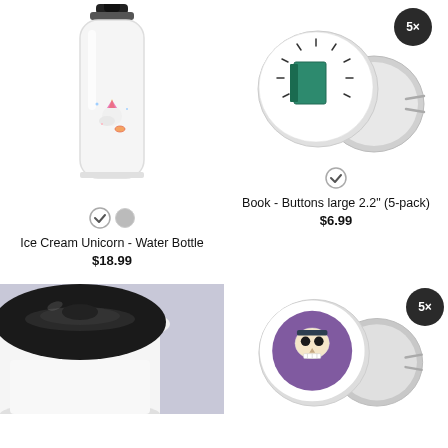[Figure (photo): White water bottle with ice cream unicorn design and black sport cap]
Ice Cream Unicorn - Water Bottle
$18.99
[Figure (photo): Two large round buttons (5-pack) showing a book design, with 5x badge]
Book - Buttons large 2.2" (5-pack)
$6.99
[Figure (photo): Black travel mug lid close-up, partially cropped]
[Figure (photo): Two large round buttons (5-pack) showing skull/cookie design, with 5x badge]